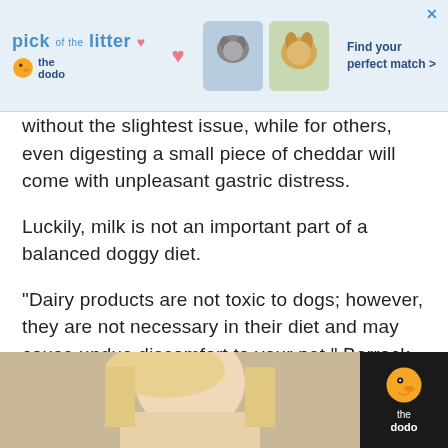[Figure (screenshot): Advertisement banner for 'The Dodo' - Pick of the Litter with pet matching promotion, showing pet images and 'Find your perfect match >' text]
without the slightest issue, while for others, even digesting a small piece of cheddar will come with unpleasant gastric distress.
Luckily, milk is not an important part of a balanced doggy diet.
“Dairy products are not toxic to dogs; however, they are not necessary in their diet and may cause undue discomfort to your pet,” Barrack tells The Dodo. “Well-balanced dog food will contain all the calcium requirements your dog needs.”
[Figure (photo): Bottom portion of page showing a blonde woman and The Dodo logo badge on a dark background]